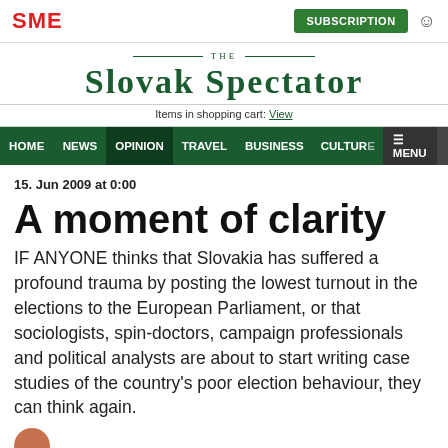SME | SUBSCRIPTION
THE SLOVAK SPECTATOR
Items in shopping cart: View
HOME NEWS OPINION TRAVEL BUSINESS CULTURE MENU
15. Jun 2009 at 0:00
A moment of clarity
IF ANYONE thinks that Slovakia has suffered a profound trauma by posting the lowest turnout in the elections to the European Parliament, or that sociologists, spin-doctors, campaign professionals and political analysts are about to start writing case studies of the country's poor election behaviour, they can think again.